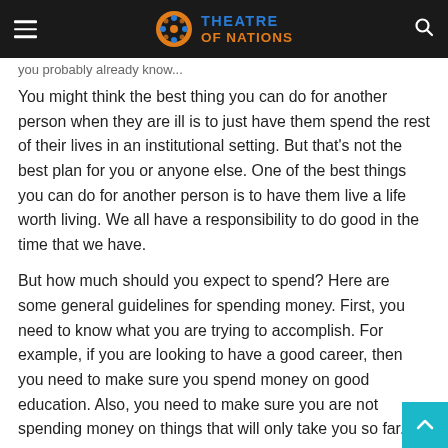Theatre of Nations
you probably already know...
You might think the best thing you can do for another person when they are ill is to just have them spend the rest of their lives in an institutional setting. But that's not the best plan for you or anyone else. One of the best things you can do for another person is to have them live a life worth living. We all have a responsibility to do good in the time that we have.
But how much should you expect to spend? Here are some general guidelines for spending money. First, you need to know what you are trying to accomplish. For example, if you are looking to have a good career, then you need to make sure you spend money on good education. Also, you need to make sure you are not spending money on things that will only take you so far.